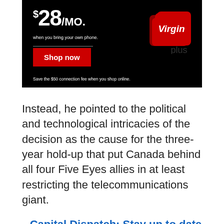[Figure (advertisement): Virgin Plus advertisement showing $28/MO. when you bring your own phone, with a red Shop now button and the Virgin plus logo on a black background. Save the $50 connection fee when you shop online.]
Instead, he pointed to the political and technological intricacies of the decision as the cause for the three-year hold-up that put Canada behind all four Five Eyes allies in at least restricting the telecommunications giant.
Capital Dispatch: Stay up to date on the latest news from Parliament Hill